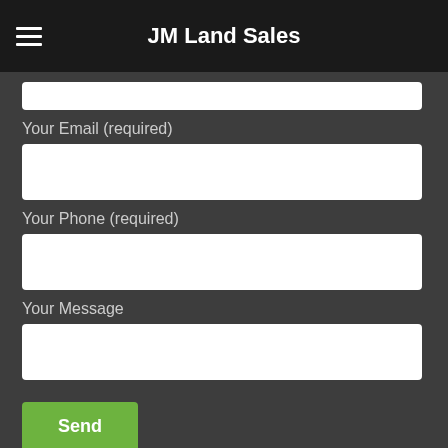JM Land Sales
Your Email (required)
Your Phone (required)
Your Message
Send
© 2018 . ALL Rights Reserved by jmlandsales.com
Terms of Use - Privacy Policy
WordPress Di Business Theme